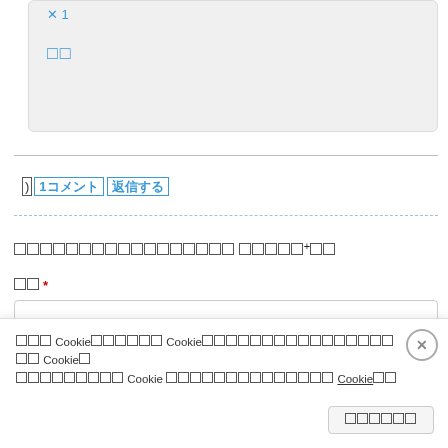[Figure (screenshot): Partial gray rounded box with blue icon and two blue square characters visible at top of page]
第1コメント 返信する
コメントを残すにはログイン または 会員登録（無料）が 必要です
内容 *
[Figure (screenshot): Empty textarea input field]
当サイト Cookie使用について Cookieはお客様のサービス向上のために Cookie情報を使用します。詳しくはこちら Cookie設定